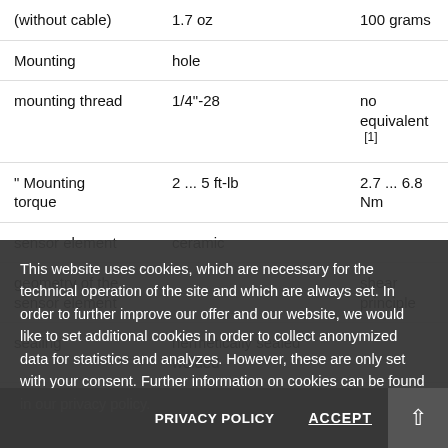| Property | Imperial | Metric |
| --- | --- | --- |
| (without cable) | 1.7 oz | 100 grams |
| Mounting | hole |  |
| mounting thread | 1/4"-28 | no equivalent [1] |
| " Mounting torque | 2 ... 5 ft-lb | 2.7 ... 6.8 Nm |
| sensor element | ceramic |  |
| geometry of the sensor element |  | shear principle |
| sealing | hermetically sealed welded |  |
| Electrical | integrated armoured |  |
This website uses cookies, which are necessary for the technical operation of the site and which are always set. In order to further improve our offer and our website, we would like to set additional cookies in order to collect anonymized data for statistics and analyzes. However, these are only set with your consent. Further information on cookies can be found in our privacy policy.
PRIVACY POLICY   ACCEPT